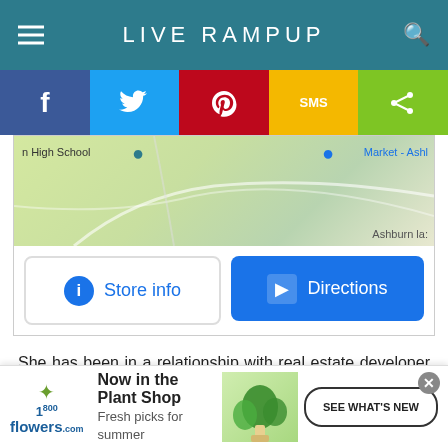LIVE RAMPUP
[Figure (screenshot): Social sharing bar with Facebook, Twitter, Pinterest, SMS, and Share buttons]
[Figure (screenshot): Google Maps partial view showing High School and Market - Ashburn area with Store info and Directions buttons]
She has been in a relationship with real estate developer and artist, Mohammed Hadid since 2012. The couple exchanged their numbers after they first met each other "very randomly" at dinner in Beverly Hills many years ago
[Figure (screenshot): 1-800-Flowers advertisement: Now in the Plant Shop. Fresh picks for summer. SEE WHAT'S NEW]